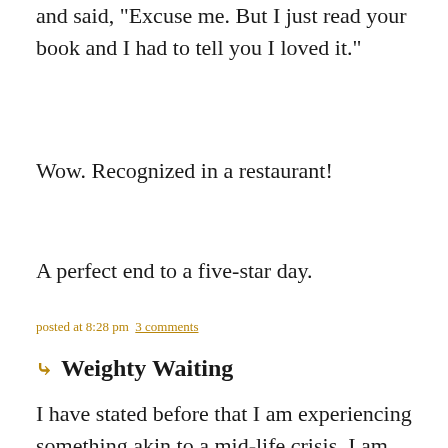and said, "Excuse me. But I just read your book and I had to tell you I loved it."
Wow. Recognized in a restaurant!
A perfect end to a five-star day.
posted at 8:28 pm  3 comments
Weighty Waiting
I have stated before that I am experiencing something akin to a mid-life crisis. I am 43, and some people think that is too young for this, but it is what it is. There are several reasons for